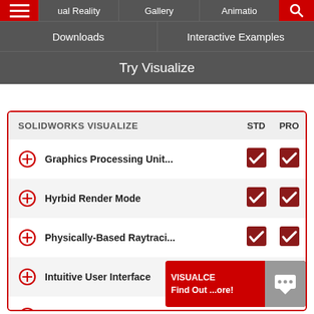[Figure (screenshot): Navigation menu bar with dark grey background showing menu items: Virtual Reality, Gallery, Animation (row 1 with hamburger and search icons in red); Downloads, Interactive Examples (row 2); Try Visualize (row 3)]
| SOLIDWORKS VISUALIZE | STD | PRO |
| --- | --- | --- |
| Graphics Processing Unit... | ✓ | ✓ |
| Hyrbid Render Mode | ✓ | ✓ |
| Physically-Based Raytraci... | ✓ | ✓ |
| Intuitive User Interface | ✓ | ✓ |
| CAD and Graphic File Su... | ✓ | ✓ |
| CAD Live Update |  |  |
[Figure (screenshot): Red overlay banner reading VISUALIZE Find Out More! with a chat icon]